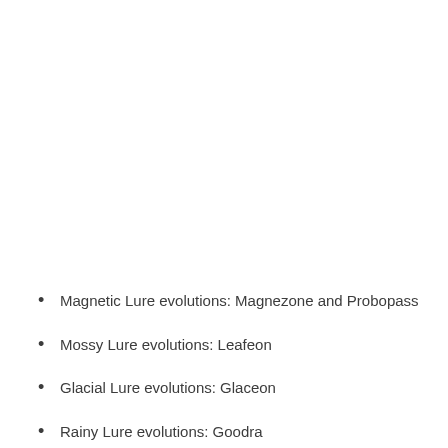Magnetic Lure evolutions: Magnezone and Probopass
Mossy Lure evolutions: Leafeon
Glacial Lure evolutions: Glaceon
Rainy Lure evolutions: Goodra